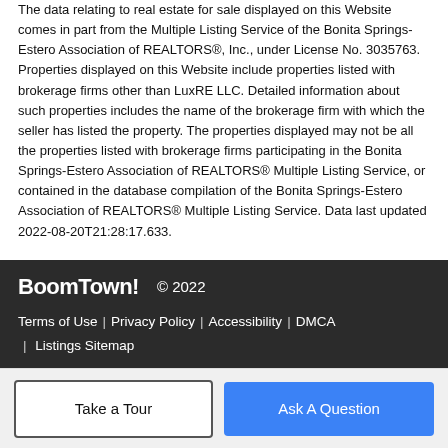The data relating to real estate for sale displayed on this Website comes in part from the Multiple Listing Service of the Bonita Springs-Estero Association of REALTORS®, Inc., under License No. 3035763. Properties displayed on this Website include properties listed with brokerage firms other than LuxRE LLC. Detailed information about such properties includes the name of the brokerage firm with which the seller has listed the property. The properties displayed may not be all the properties listed with brokerage firms participating in the Bonita Springs-Estero Association of REALTORS® Multiple Listing Service, or contained in the database compilation of the Bonita Springs-Estero Association of REALTORS® Multiple Listing Service. Data last updated 2022-08-20T21:28:17.633.
BoomTown! © 2022 | Terms of Use | Privacy Policy | Accessibility | DMCA | Listings Sitemap
Take a Tour | Ask A Question